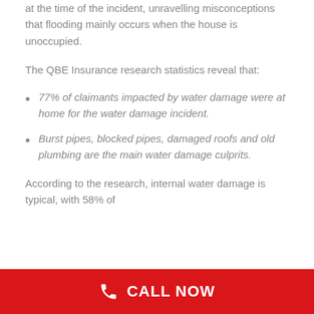at the time of the incident, unravelling misconceptions that flooding mainly occurs when the house is unoccupied.
The QBE Insurance research statistics reveal that:
77% of claimants impacted by water damage were at home for the water damage incident.
Burst pipes, blocked pipes, damaged roofs and old plumbing are the main water damage culprits.
According to the research, internal water damage is typical, with 58% of
CALL NOW